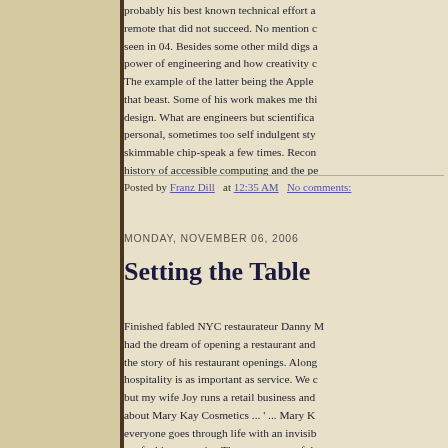probably his best known technical effort a remote that did not succeed. No mention c seen in 04. Besides some other mild digs a power of engineering and how creativity c The example of the latter being the Apple that beast. Some of his work makes me thi design. What are engineers but scientifica personal, sometimes too self indulgent sty skimmable chip-speak a few times. Recon history of accessible computing and the pe
Posted by Franz Dill at 12:35 AM No comments:
MONDAY, NOVEMBER 06, 2006
Setting the Table
Finished fabled NYC restaurateur Danny h had the dream of opening a restaurant and the story of his restaurant openings. Along hospitality is as important as service. We c but my wife Joy runs a retail business and about Mary Kay Cosmetics ... ' ... Mary K everyone goes through life with an invisib me feel important' ... The most successful b l ti hi th d